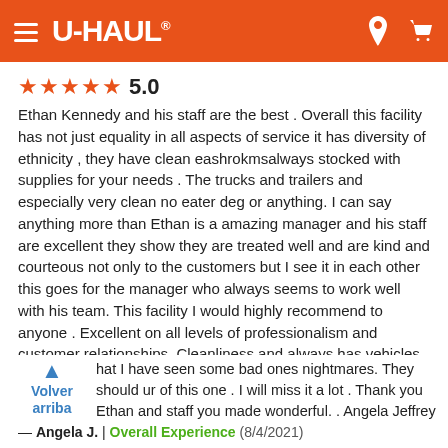U-HAUL
★★★★★ 5.0
Ethan Kennedy and his staff are the best . Overall this facility has not just equality in all aspects of service it has diversity of ethnicity , they have clean eashrokmsalways stocked with supplies for your needs . The trucks and trailers and especially very clean no eater deg or anything. I can say anything more than Ethan is a amazing manager and his staff are excellent they show they are treated well and are kind and courteous not only to the customers but I see it in each other this goes for the manager who always seems to work well with his team. This facility I would highly recommend to anyone . Excellent on all levels of professionalism and customer relationships. Cleanliness and always has vehicles ready to go . I think all facilities should, See how Ethan runs and manages his free and I think all that I have seen some bad ones nightmares. They should ur of this one . I will miss it a lot . Thank you Ethan and staff you made wonderful. . Angela Jeffrey
— Angela J. | Overall Experience (8/4/2021)